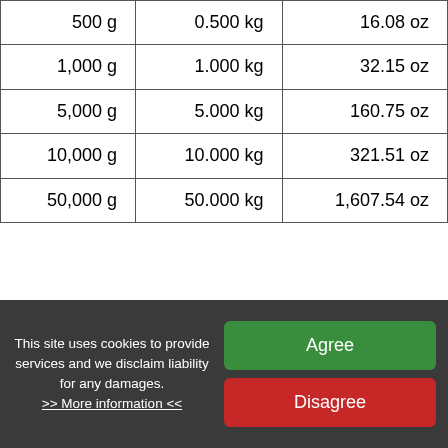| 500 g | 0.500 kg | 16.08 oz |
| 1,000 g | 1.000 kg | 32.15 oz |
| 5,000 g | 5.000 kg | 160.75 oz |
| 10,000 g | 10.000 kg | 321.51 oz |
| 50,000 g | 50.000 kg | 1,607.54 oz |
Related links:
This site uses cookies to provide services and we disclaim liability for any damages. >> More information <<